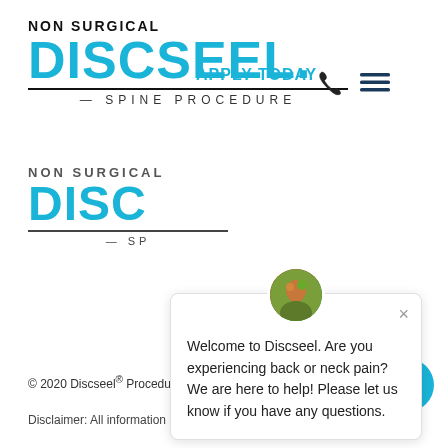[Figure (logo): Non Surgical Discseel Spine Procedure logo with cyan/blue DISCSEEL text, phone icon and hamburger menu. Also shows APPLY TODAY link.]
[Figure (logo): Duplicate/background Non Surgical Discseel Spine Procedure logo (partial, showing DISC and SP text)]
[Figure (screenshot): Chat popup widget showing Welcome message: 'Welcome to Discseel. Are you experiencing back or neck pain? We are here to help! Please let us know if you have any questions.' with close X button and avatar image.]
[Figure (infographic): Social media icons row: Facebook, Instagram, Twitter, YouTube]
© 2020 Discseel® Procedure. All rights reserved.
Disclaimer: All information presented in this website is